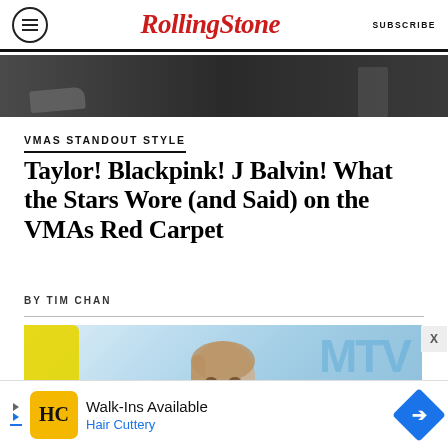RollingStone  SUBSCRIBE
[Figure (photo): Cropped photo strip showing legs/shoes of people on a dark background, partial view]
VMAS STANDOUT STYLE
Taylor! Blackpink! J Balvin! What the Stars Wore (and Said) on the VMAs Red Carpet
BY TIM CHAN
[Figure (photo): Photo of a woman (Taylor Swift) on VMAs red carpet with blue MTV logo backdrop and yellow decorative element visible]
[Figure (advertisement): Ad banner for Hair Cuttery: Walk-Ins Available, Hair Cuttery, with yellow HC logo and blue navigation arrow icon]